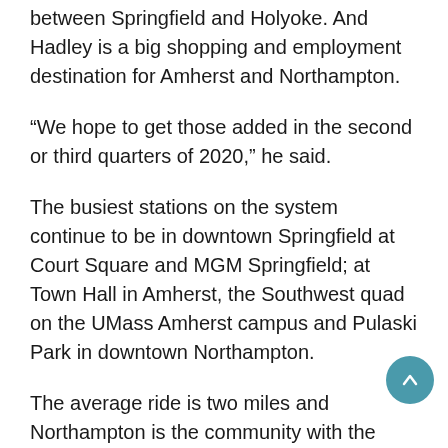between Springfield and Holyoke. And Hadley is a big shopping and employment destination for Amherst and Northampton.
“We hope to get those added in the second or third quarters of 2020,” he said.
The busiest stations on the system continue to be in downtown Springfield at Court Square and MGM Springfield; at Town Hall in Amherst, the Southwest quad on the UMass Amherst campus and Pulaski Park in downtown Northampton.
The average ride is two miles and Northampton is the community with the greatest number of rides.
Further content cut off at the bottom of the page.